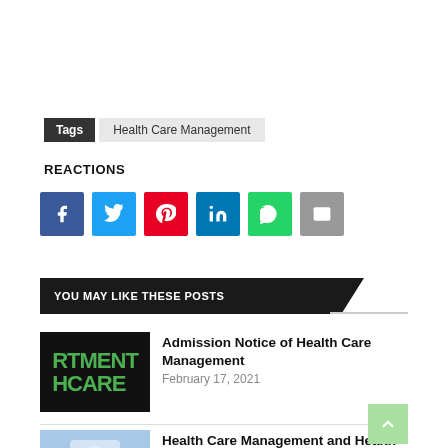Tags  Health Care Management
REACTIONS
[Figure (infographic): Social sharing buttons: Facebook (blue), Twitter (light blue), Pinterest (red), LinkedIn (blue), WhatsApp (green), Email (grey)]
YOU MAY LIKE THESE POSTS
[Figure (illustration): Thumbnail image showing green text RTMENT HCARE on dark background]
Admission Notice of Health Care Management
February 17, 2021
[Figure (photo): Thumbnail photo of health care professional with icons]
Health Care Management and Health Care Managers